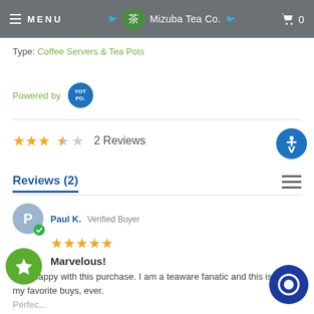MENU | Mizuba Tea Co. | Cart 0
Type: Coffee Servers & Tea Pots
Powered by YOTPO
★★★½ 2 Reviews
Reviews (2)
Paul K. Verified Buyer
★★★★★
Marvelous!
Very happy with this purchase. I am a teaware fanatic and this is one of my favorite buys, ever.